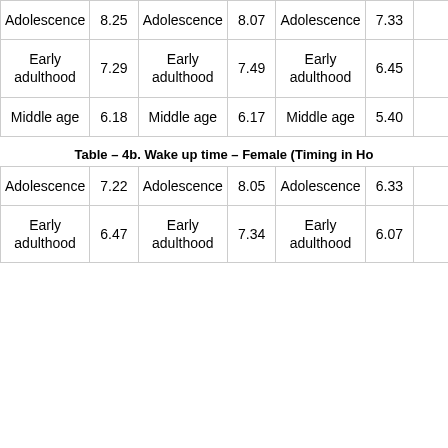| Adolescence | 8.25 | Adolescence | 8.07 | Adolescence | 7.33 | … |
| Early adulthood | 7.29 | Early adulthood | 7.49 | Early adulthood | 6.45 | … |
| Middle age | 6.18 | Middle age | 6.17 | Middle age | 5.40 | … |
Table – 4b. Wake up time – Female (Timing in Ho…
| Adolescence | 7.22 | Adolescence | 8.05 | Adolescence | 6.33 | … |
| Early adulthood | 6.47 | Early adulthood | 7.34 | Early adulthood | 6.07 | … |